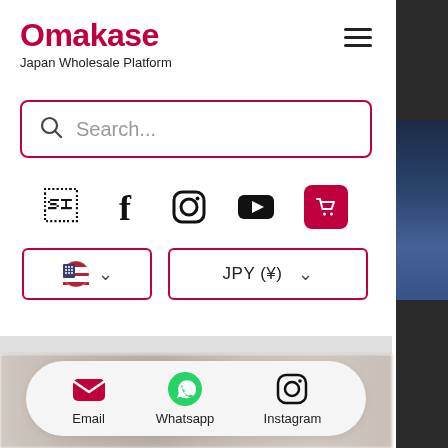Omakase
Japan Wholesale Platform
[Figure (screenshot): Search bar with red border and search icon placeholder text 'Search...']
[Figure (infographic): Social media icons row: Facebook, Instagram, YouTube, and a red shopping cart badge showing 0]
[Figure (screenshot): Two dropdown selectors: US flag with chevron (country selector) and JPY (¥) currency selector with chevron]
[Figure (photo): Blurred product images strip at bottom of main content area]
[Figure (screenshot): Bottom contact bar with Email (pink envelope icon), Whatsapp (green icon), and Instagram (black icon) links on light gray rounded pill background]